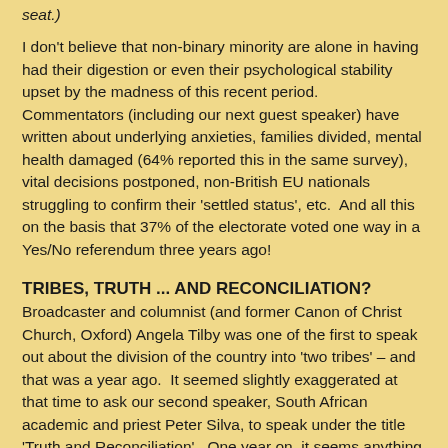seat.)
I don't believe that non-binary minority are alone in having had their digestion or even their psychological stability upset by the madness of this recent period.  Commentators (including our next guest speaker) have written about underlying anxieties, families divided, mental health damaged (64% reported this in the same survey), vital decisions postponed, non-British EU nationals struggling to confirm their 'settled status', etc.  And all this on the basis that 37% of the electorate voted one way in a Yes/No referendum three years ago!
TRIBES, TRUTH ... AND RECONCILIATION?
Broadcaster and columnist (and former Canon of Christ Church, Oxford) Angela Tilby was one of the first to speak out about the division of the country into 'two tribes' – and that was a year ago.  It seemed slightly exaggerated at that time to ask our second speaker, South African academic and priest Peter Silva, to speak under the title 'Truth and Reconciliation'.  One year on, it seems anything but extreme to imagine we might have to hold some sort of similar process to try and bring the country together again.  The